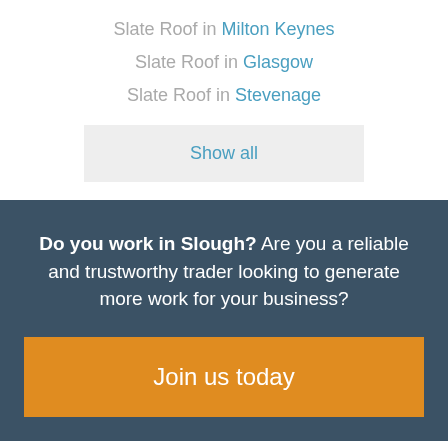Slate Roof in Milton Keynes
Slate Roof in Glasgow
Slate Roof in Stevenage
Show all
Do you work in Slough? Are you a reliable and trustworthy trader looking to generate more work for your business?
Join us today